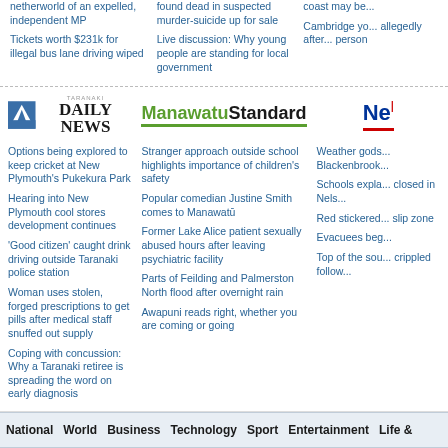netherworld of an expelled, independent MP
Tickets worth $231k for illegal bus lane driving wiped
found dead in suspected murder-suicide up for sale
Live discussion: Why young people are standing for local government
coast may be...
Cambridge yo... allegedly after... person
[Figure (logo): Taranaki Daily News logo with mountain icon]
[Figure (logo): Manawatu Standard logo]
[Figure (logo): Nelson (Ne...) logo partially visible]
Options being explored to keep cricket at New Plymouth's Pukekura Park
Hearing into New Plymouth cool stores development continues
'Good citizen' caught drink driving outside Taranaki police station
Woman uses stolen, forged prescriptions to get pills after medical staff snuffed out supply
Coping with concussion: Why a Taranaki retiree is spreading the word on early diagnosis
Stranger approach outside school highlights importance of children's safety
Popular comedian Justine Smith comes to Manawatū
Former Lake Alice patient sexually abused hours after leaving psychiatric facility
Parts of Feilding and Palmerston North flood after overnight rain
Awapuni reads right, whether you are coming or going
Weather gods... Blackenbrook...
Schools expla... closed in Nels...
Red stickered... slip zone
Evacuees beg...
Top of the sou... crippled follow...
National | World | Business | Technology | Sport | Entertainment | Life &
Stuff.co.nz  About Us | Contact Us | Mobile | View Smartphone Site | View Mobile Light Si... Subscribe  Text | Follow us on Facebook and Twitter | Newspapers | Magazine subscription... Services  Newspapers in Education | A-Z Directories | Online Advertising | Print Advertisin... Classifieds  Death Notices | Celebrations | Trade Me | Jobs | Property | Motors | Acco...